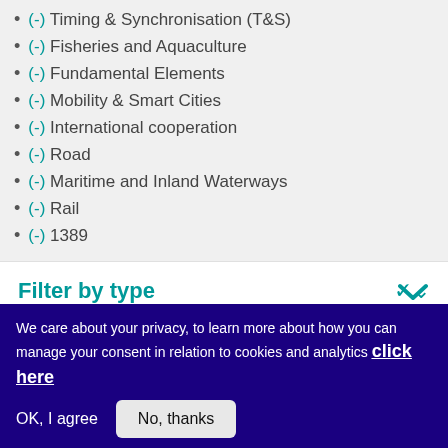(-) Timing & Synchronisation (T&S)
(-) Fisheries and Aquaculture
(-) Fundamental Elements
(-) Mobility & Smart Cities
(-) International cooperation
(-) Road
(-) Maritime and Inland Waterways
(-) Rail
(-) 1389
Filter by type
We care about your privacy, to learn more about how you can manage your consent in relation to cookies and analytics click here
OK, I agree
No, thanks